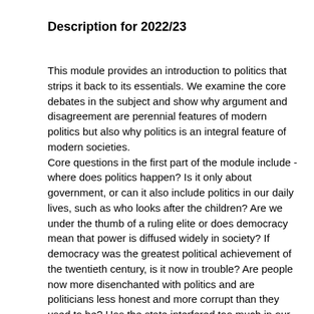Description for 2022/23
This module provides an introduction to politics that strips it back to its essentials. We examine the core debates in the subject and show why argument and disagreement are perennial features of modern politics but also why politics is an integral feature of modern societies.
Core questions in the first part of the module include - where does politics happen? Is it only about government, or can it also include politics in our daily lives, such as who looks after the children? Are we under the thumb of a ruling elite or does democracy mean that power is diffused widely in society? If democracy was the greatest political achievement of the twentieth century, is it now in trouble? Are people now more disenchanted with politics and are politicians less honest and more corrupt than they used to be? Has the state interfered too much in our lives or should government being doing more? What makes a good citizen and does being a good citizen include saying no to governments on occasion? There are no easy or universally-agreed answers to these questions, but trying to answer them will help you understand the forces that shape the world you live in, the choices that you have about